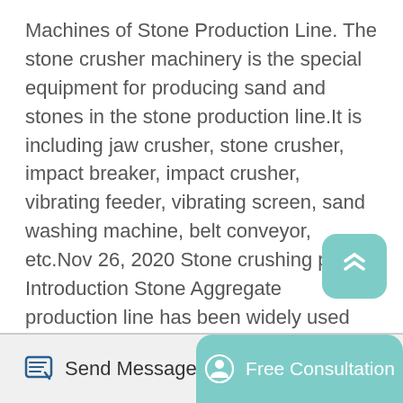Machines of Stone Production Line. The stone crusher machinery is the special equipment for producing sand and stones in the stone production line.It is including jaw crusher, stone crusher, impact breaker, impact crusher, vibrating feeder, vibrating screen, sand washing machine, belt conveyor, etc.Nov 26, 2020 Stone crushing plant Introduction Stone Aggregate production line has been widely used for producing gravel and sand finished product with different particle size in highway, high railway, hydroelectric dam construction, mechanism sandstone, construction fields and so on. We can provide high performance stationary and mobile aggregate crushing plant with.
[Figure (other): A teal rounded square button with a white upward-pointing chevron/arrow icon, used as a scroll-to-top button]
Send Message   Free Consultation